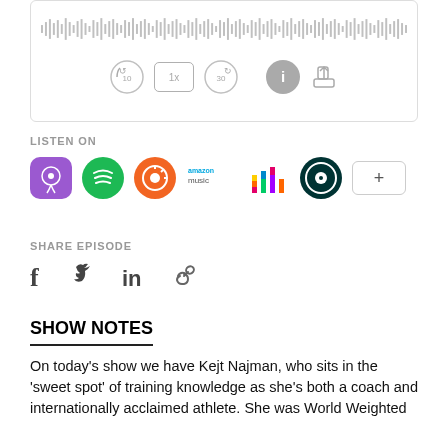[Figure (screenshot): Podcast audio player with waveform and playback controls (skip back 10, speed 1x, skip forward 30, info, share)]
LISTEN ON
[Figure (infographic): Podcast platform icons: Apple Podcasts, Spotify, Overcast, Amazon Music, Deezer, Podimo, plus more button]
SHARE EPISODE
[Figure (infographic): Social share icons: Facebook, Twitter/X, LinkedIn, Link]
SHOW NOTES
On today's show we have Kejt Najman, who sits in the 'sweet spot' of training knowledge as she's both a coach and internationally acclaimed athlete. She was World Weighted